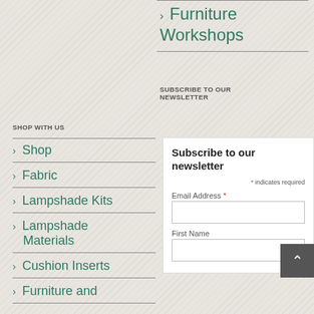> Furniture Workshops
SHOP WITH US
> Shop
> Fabric
> Lampshade Kits
> Lampshade Materials
> Cushion Inserts
> Furniture and
SUBSCRIBE TO OUR NEWSLETTER
Subscribe to our newsletter
* indicates required
Email Address *
First Name